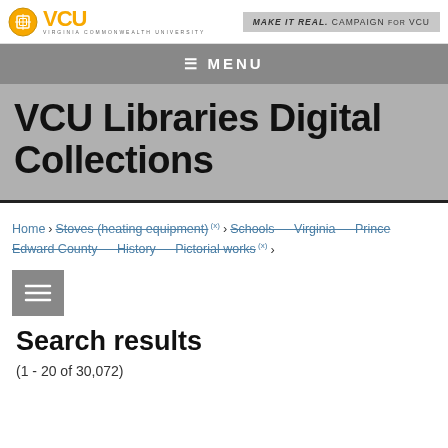VCU VIRGINIA COMMONWEALTH UNIVERSITY | Make it real. CAMPAIGN FOR VCU
[Figure (screenshot): VCU logo with golden icon and wordmark]
≡ MENU
VCU Libraries Digital Collections
Home › Stoves (heating equipment) (x) › Schools — Virginia — Prince Edward County — History — Pictorial works (x) ›
[Figure (other): Filter/hamburger menu icon button (gray square with three lines)]
Search results
(1 - 20 of 30,072)